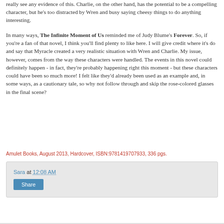really see any evidence of this. Charlie, on the other hand, has the potential to be a compelling character, but he's too distracted by Wren and busy saying cheesy things to do anything interesting.
In many ways, The Infinite Moment of Us reminded me of Judy Blume's Forever. So, if you're a fan of that novel, I think you'll find plenty to like here. I will give credit where it's do and say that Myracle created a very realistic situation with Wren and Charlie. My issue, however, comes from the way these characters were handled. The events in this novel could definitely happen - in fact, they're probably happening right this moment - but these characters could have been so much more! I felt like they'd already been used as an example and, in some ways, as a cautionary tale, so why not follow through and skip the rose-colored glasses in the final scene?
Amulet Books, August 2013, Hardcover, ISBN:9781419707933, 336 pgs.
Sara at 12:08 AM
Share